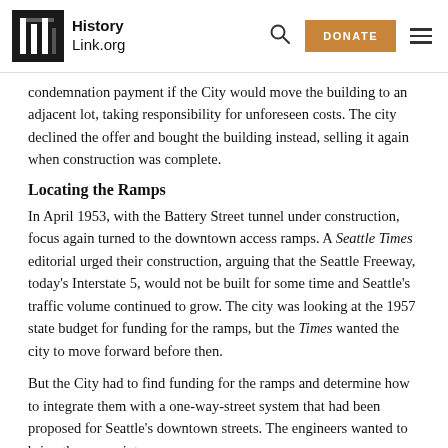HistoryLink.org
condemnation payment if the City would move the building to an adjacent lot, taking responsibility for unforeseen costs. The city declined the offer and bought the building instead, selling it again when construction was complete.
Locating the Ramps
In April 1953, with the Battery Street tunnel under construction, focus again turned to the downtown access ramps. A Seattle Times editorial urged their construction, arguing that the Seattle Freeway, today's Interstate 5, would not be built for some time and Seattle's traffic volume continued to grow. The city was looking at the 1957 state budget for funding for the ramps, but the Times wanted the city to move forward before then.
But the City had to find funding for the ramps and determine how to integrate them with a one-way-street system that had been proposed for Seattle's downtown streets. The engineers wanted to bring the ramps into